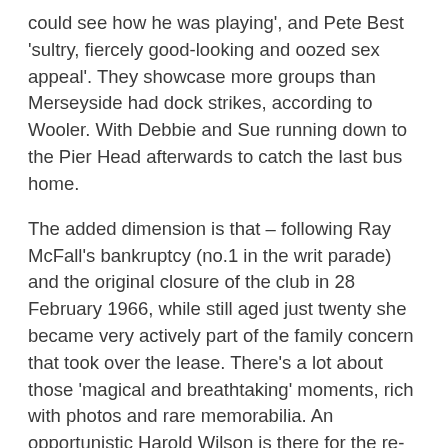could see how he was playing', and Pete Best 'sultry, fiercely good-looking and oozed sex appeal'. They showcase more groups than Merseyside had dock strikes, according to Wooler. With Debbie and Sue running down to the Pier Head afterwards to catch the last bus home.
The added dimension is that – following Ray McFall's bankruptcy (no.1 in the writ parade) and the original closure of the club in 28 February 1966, while still aged just twenty she became very actively part of the family concern that took over the lease. There's a lot about those 'magical and breathtaking' moments, rich with photos and rare memorabilia. An opportunistic Harold Wilson is there for the re-opening, Solomon Burke, Long John Baldry, Edwin Starr and Chuck Berry ('a wonderful musician but not a particularly nice man') all play. They book Ike & Tina but only get the Ikettes. Paul and Linda call around. The Chants play, who later become chart-toppers as the Real Thing. The Iveys play, who become Badfinger after Dad Alf Geoghegan adds the 'bad' to Paul McCartney's original name for them – Finger. Enjoying 'Good Times Again' until the club's 1970 sale, and the dubious events surrounding the compulsory